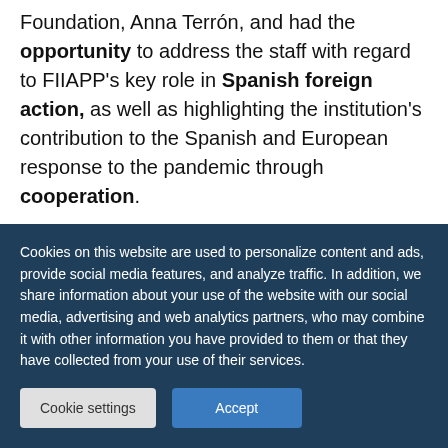Foundation, Anna Terrón, and had the opportunity to address the staff with regard to FIIAPP's key role in Spanish foreign action, as well as highlighting the institution's contribution to the Spanish and European response to the pandemic through cooperation.
During her speech, the Secretary of
Cookies on this website are used to personalize content and ads, provide social media features, and analyze traffic. In addition, we share information about your use of the website with our social media, advertising and web analytics partners, who may combine it with other information you have provided to them or that they have collected from your use of their services.